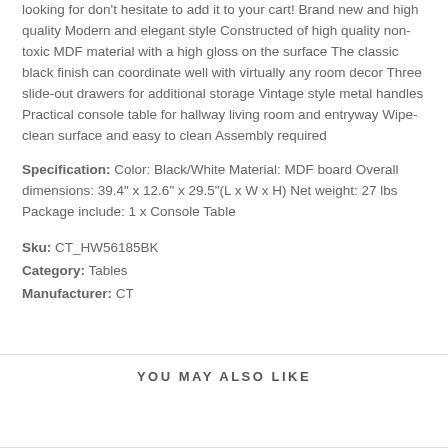looking for don't hesitate to add it to your cart! Brand new and high quality Modern and elegant style Constructed of high quality non-toxic MDF material with a high gloss on the surface The classic black finish can coordinate well with virtually any room decor Three slide-out drawers for additional storage Vintage style metal handles Practical console table for hallway living room and entryway Wipe-clean surface and easy to clean Assembly required
Specification: Color: Black/White Material: MDF board Overall dimensions: 39.4" x 12.6" x 29.5"(L x W x H) Net weight: 27 lbs Package include: 1 x Console Table
Sku: CT_HW56185BK
Category: Tables
Manufacturer: CT
YOU MAY ALSO LIKE